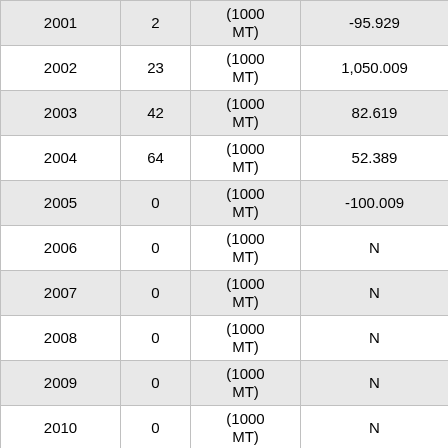| Year | Count | Unit | Value |
| --- | --- | --- | --- |
| 2001 | 2 | (1000 MT) | -95.929 |
| 2002 | 23 | (1000 MT) | 1,050.009 |
| 2003 | 42 | (1000 MT) | 82.619 |
| 2004 | 64 | (1000 MT) | 52.389 |
| 2005 | 0 | (1000 MT) | -100.009 |
| 2006 | 0 | (1000 MT) | N |
| 2007 | 0 | (1000 MT) | N |
| 2008 | 0 | (1000 MT) | N |
| 2009 | 0 | (1000 MT) | N |
| 2010 | 0 | (1000 MT) | N |
| 2011 | 0 | (1000 MT) | N |
| 2012 | 0 | (1000 MT) | N |